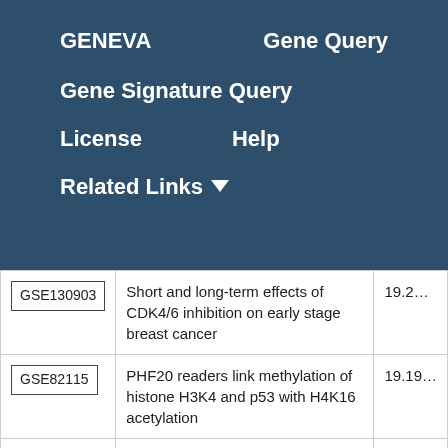GENEVA    Gene Query
Gene Signature Query
License    Help
Related Links ▼
| GSE ID | Description | Score |
| --- | --- | --- |
| GSE130903 | Short and long-term effects of CDK4/6 inhibition on early stage breast cancer | 19.2… |
| GSE82115 | PHF20 readers link methylation of histone H3K4 and p53 with H4K16 acetylation | 19.19… |
| (partial row) |  |  |